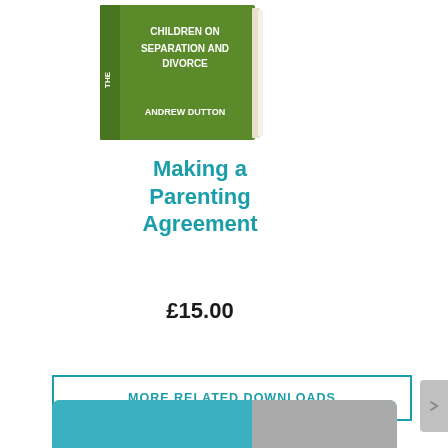[Figure (illustration): Book cover showing 'The Effect of Children on Separation and Divorce' by Andrew Dutton, green cover with white text]
Making a Parenting Agreement
£15.00
MORE RELATED DOWNLOADS
You may also like to read...
[Figure (illustration): Partial thumbnail image at the bottom of the page, teal/grey colored]